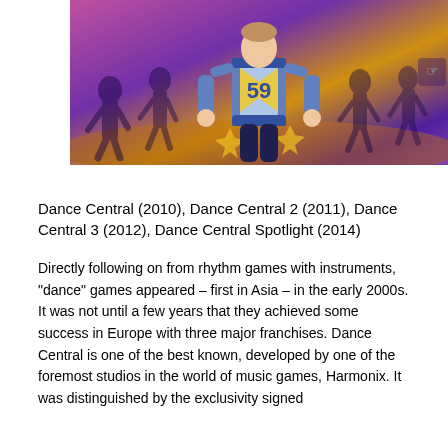[Figure (screenshot): Screenshot from Dance Central video game showing animated characters dancing on a colorful stage with purple, pink, and yellow lighting. A central character wears a blue and white jersey with the number 59.]
Dance Central (2010), Dance Central 2 (2011), Dance Central 3 (2012), Dance Central Spotlight (2014)
Directly following on from rhythm games with instruments, "dance" games appeared – first in Asia – in the early 2000s. It was not until a few years that they achieved some success in Europe with three major franchises. Dance Central is one of the best known, developed by one of the foremost studios in the world of music games, Harmonix. It was distinguished by the exclusivity signed